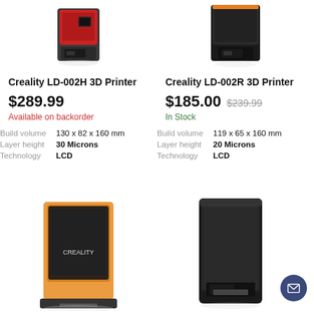[Figure (photo): Creality LD-002H 3D Printer product photo - red and grey resin printer]
[Figure (photo): Creality LD-002R 3D Printer product photo - black resin printer with orange accent]
Creality LD-002H 3D Printer
$289.99
Available on backorder
| Build volume | 130 x 82 x 160 mm |
| Layer height | 30 Microns |
| Technology | LCD |
Creality LD-002R 3D Printer
$185.00  $239.99
In Stock
| Build volume | 119 x 65 x 160 mm |
| Layer height | 20 Microns |
| Technology | LCD |
[Figure (photo): Creality resin 3D printer with orange translucent cover - bottom left]
[Figure (photo): Tall black rectangular 3D printer - bottom right]